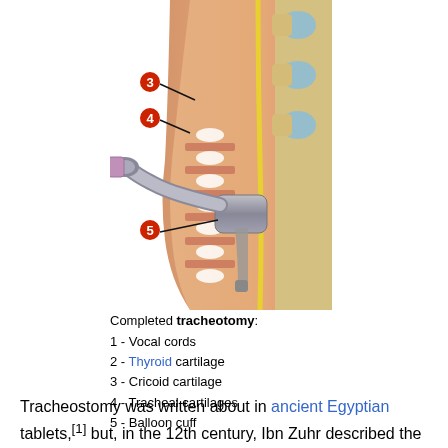[Figure (illustration): Medical illustration of a completed tracheotomy showing a cross-section of the neck with a tracheostomy tube inserted. Numbered labels 3, 4, and 5 indicate cricoid cartilage, tracheal cartilages, and balloon cuff respectively. The tube curves from outside the neck into the trachea.]
Completed tracheotomy:
1 - Vocal cords
2 - Thyroid cartilage
3 - Cricoid cartilage
4 - Tracheal cartilages
5 - Balloon cuff
Tracheostomy was written about in ancient Egyptian tablets,[1] but, in the 12th century, Ibn Zuhr described the first correct tracheostomy operation for people who were